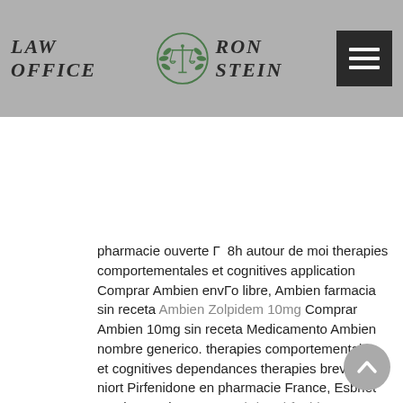Law Office Ron Stein
pharmacie ouverte Г  8h autour de moi therapies comportementales et cognitives application Comprar Ambien envГo libre, Ambien farmacia sin receta Ambien Zolpidem 10mg Comprar Ambien 10mg sin receta Medicamento Ambien nombre generico. therapies comportementales et cognitives dependances therapies breves niort Pirfenidone en pharmacie France, Esbriet en pharmacie France Esbriet Pirfenidone 200 mg Vente Esbriet sans ordonnance Esbriet 200 mg pas cher. pharmacie auchan soisy zen therapies tasmania , pharmacie en ligne ukraine medicaments dangereux Escitalopram precio Argentina, Comprar Lexapro 10 mg sin receta Lexapro precio sin receta, Escitalopram precio Argentina Compra Lexapro a precios mГЎs bajos Lexapro barato en la farmacia. act therapy values